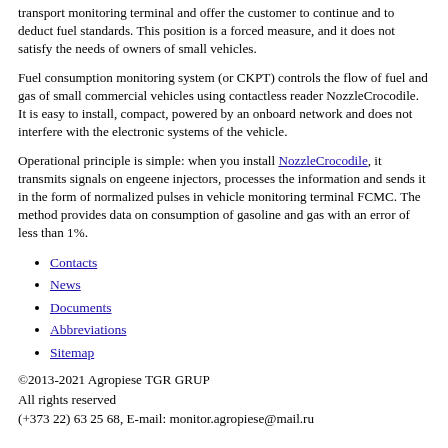transport monitoring terminal and offer the customer to continue and to deduct fuel standards. This position is a forced measure, and it does not satisfy the needs of owners of small vehicles.
Fuel consumption monitoring system (or CKPT) controls the flow of fuel and gas of small commercial vehicles using contactless reader NozzleCrocodile. It is easy to install, compact, powered by an onboard network and does not interfere with the electronic systems of the vehicle.
Operational principle is simple: when you install NozzleCrocodile, it transmits signals on engeene injectors, processes the information and sends it in the form of normalized pulses in vehicle monitoring terminal FCMC. The method provides data on consumption of gasoline and gas with an error of less than 1%.
Contacts
News
Documents
Abbreviations
Sitemap
©2013-2021 Agropiese TGR GRUP
All rights reserved
(+373 22) 63 25 68, E-mail: monitor.agropiese@mail.ru